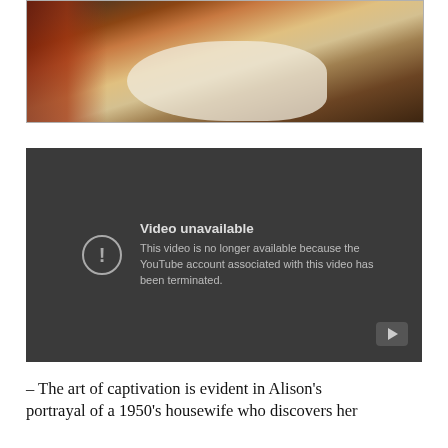[Figure (photo): Dark-toned photograph showing figures in close proximity, with reddish clothing on the left and white fabric/clothing in the center, small metallic objects visible on the fabric.]
[Figure (screenshot): YouTube video unavailable error screen on dark grey background. Shows exclamation mark icon, text 'Video unavailable' and 'This video is no longer available because the YouTube account associated with this video has been terminated.' YouTube play button icon in bottom-right corner.]
– The art of captivation is evident in Alison's portrayal of a 1950's housewife who discovers her